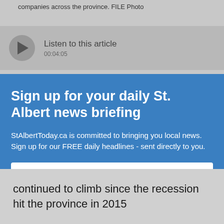companies across the province. FILE Photo
[Figure (screenshot): Audio player bar with play button, text 'Listen to this article' and timestamp '00:04:05']
Sign up for your daily St. Albert news briefing
StAlbertToday.ca is committed to bringing you local news. Sign up for our FREE daily headlines - sent directly to you.
Email address
Don't worry: we won't share your information with anyone, and you can unsubscribe at any time.
continued to climb since the recession hit the province in 2015